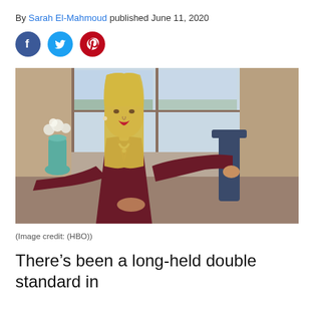By Sarah El-Mahmoud published June 11, 2020
[Figure (photo): Social media sharing icons: Facebook (blue circle), Twitter (blue circle), Pinterest (red circle)]
[Figure (photo): Reese Witherspoon sitting in a chair wearing a dark red/maroon coat, with blonde hair, in a cafe-like setting. HBO production still.]
(Image credit: (HBO))
There’s been a long-held double standard in